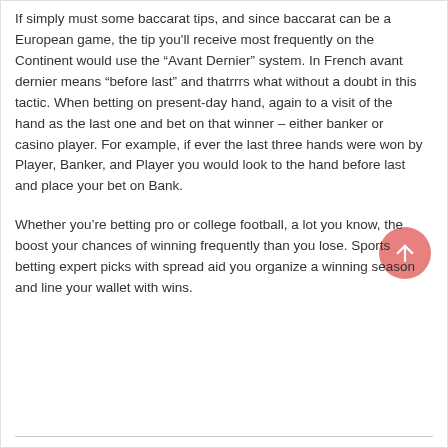If simply must some baccarat tips, and since baccarat can be a European game, the tip you'll receive most frequently on the Continent would use the “Avant Dernier” system. In French avant dernier means “before last” and thatrrrs what without a doubt in this tactic. When betting on present-day hand, again to a visit of the hand as the last one and bet on that winner – either banker or casino player. For example, if ever the last three hands were won by Player, Banker, and Player you would look to the hand before last and place your bet on Bank.
Whether you’re betting pro or college football, a lot you know, the boost your chances of winning frequently than you lose. Sports betting expert picks with spread aid you organize a winning season and line your wallet with wins.